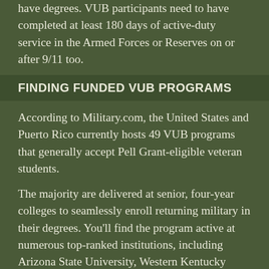have degrees. VUB participants need to have completed at least 180 days of active-duty service in the Armed Forces or Reserves on or after 9/11 too.
FINDING FUNDED VUB PROGRAMS
According to Military.com, the United States and Puerto Rico currently hosts 49 VUB programs that generally accept Pell Grant-eligible veteran students.
The majority are delivered at senior, four-year colleges to seamlessly enroll returning military in their degrees. You'll find the program active at numerous top-ranked institutions, including Arizona State University, Western Kentucky University, East Tennessee State University, and University of Wisconsin-Milwaukee.
The VUB Project has a proven track record of success in making military enlistees academically qualified to take college courses and excel in the civilian workforce.
One Federal TRIO report showed that 96 percent of VUB participants were enrolled in college education with good